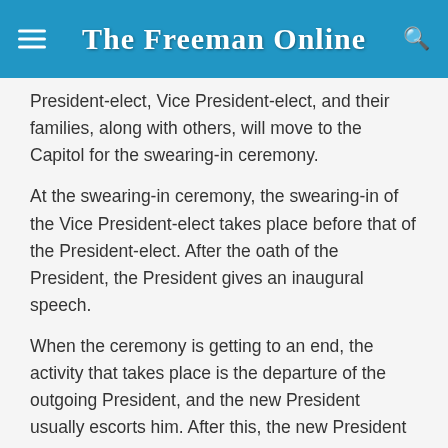The Freeman Online
President-elect, Vice President-elect, and their families, along with others, will move to the Capitol for the swearing-in ceremony.
At the swearing-in ceremony, the swearing-in of the Vice President-elect takes place before that of the President-elect. After the oath of the President, the President gives an inaugural speech.
When the ceremony is getting to an end, the activity that takes place is the departure of the outgoing President, and the new President usually escorts him. After this, the new President and his Vice will proceed back to the Capitol Building to participate in the Inaugural luncheon hosted by the Joint Congressional Committee on Inaugural Ceremonies.